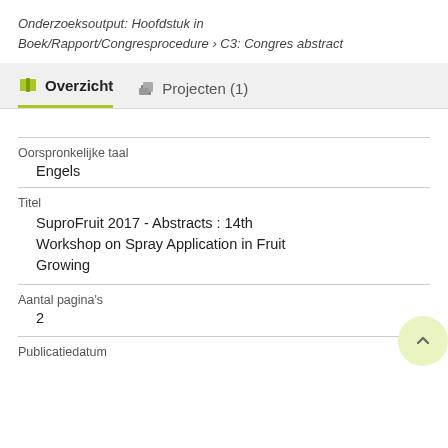Onderzoeksoutput: Hoofdstuk in Boek/Rapport/Congresprocedure › C3: Congres abstract
Overzicht
Projecten (1)
Oorspronkelijke taal
Engels
Titel
SuproFruit 2017 - Abstracts : 14th Workshop on Spray Application in Fruit Growing
Aantal pagina's
2
Publicatiedatum